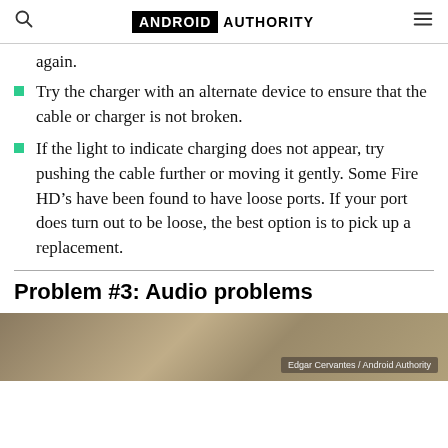ANDROID AUTHORITY
again.
Try the charger with an alternate device to ensure that the cable or charger is not broken.
If the light to indicate charging does not appear, try pushing the cable further or moving it gently. Some Fire HD’s have been found to have loose ports. If your port does turn out to be loose, the best option is to pick up a replacement.
Problem #3: Audio problems
[Figure (photo): Photo of a device, credited to Edgar Cervantes / Android Authority]
Edgar Cervantes / Android Authority